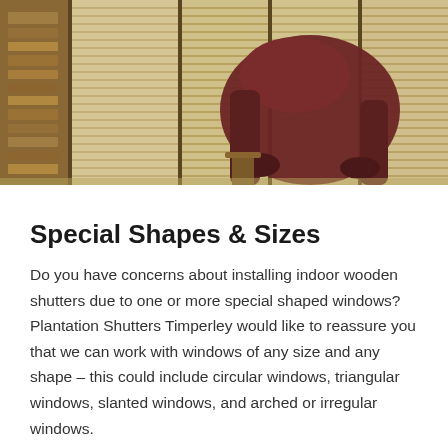[Figure (photo): Interior room photo showing wooden plantation shutters on a large window with a dark maroon leather recliner chair in front, and a wooden bookshelf to the left.]
Special Shapes & Sizes
Do you have concerns about installing indoor wooden shutters due to one or more special shaped windows? Plantation Shutters Timperley would like to reassure you that we can work with windows of any size and any shape – this could include circular windows, triangular windows, slanted windows, and arched or irregular windows.
Remember, we offer you a FREE home consultation. We will give you the definite answers you need about